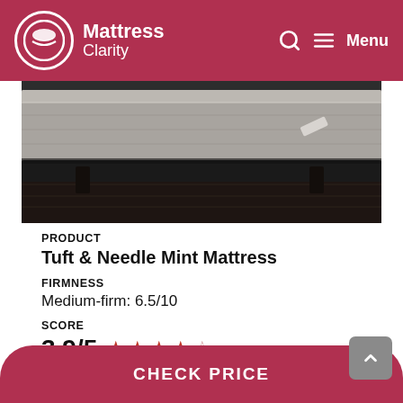Mattress Clarity — Menu
[Figure (photo): Side view of a Tuft & Needle Mint Mattress on a bed frame with dark wood floor background]
PRODUCT
Tuft & Needle Mint Mattress
FIRMNESS
Medium-firm: 6.5/10
SCORE
3.9/5 ★★★½☆
CHECK PRICE